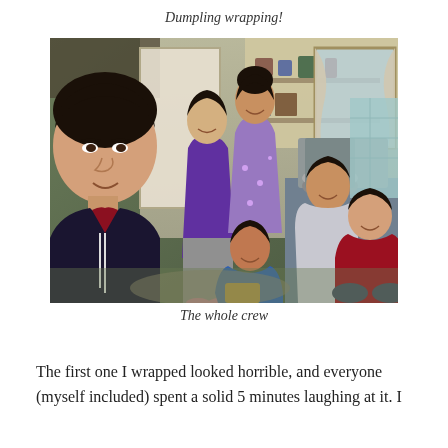Dumpling wrapping!
[Figure (photo): Group photo of six women in a kitchen setting. One woman in the foreground takes a selfie wearing a dark maroon top. Behind her are two women standing — one in purple and one in a floral purple dress. Three more women are seated or crouching in the foreground, smiling. The kitchen has shelves, pots, and a stove visible in the background.]
The whole crew
The first one I wrapped looked horrible, and everyone (myself included) spent a solid 5 minutes laughing at it. I